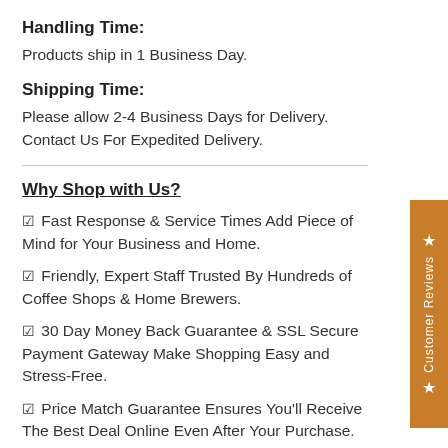Handling Time:
Products ship in 1 Business Day.
Shipping Time:
Please allow 2-4 Business Days for Delivery. Contact Us For Expedited Delivery.
Why Shop with Us?
☑ Fast Response & Service Times Add Piece of Mind for Your Business and Home.
☑ Friendly, Expert Staff Trusted By Hundreds of Coffee Shops & Home Brewers.
☑ 30 Day Money Back Guarantee & SSL Secure Payment Gateway Make Shopping Easy and Stress-Free.
☑ Price Match Guarantee Ensures You'll Receive The Best Deal Online Even After Your Purchase.